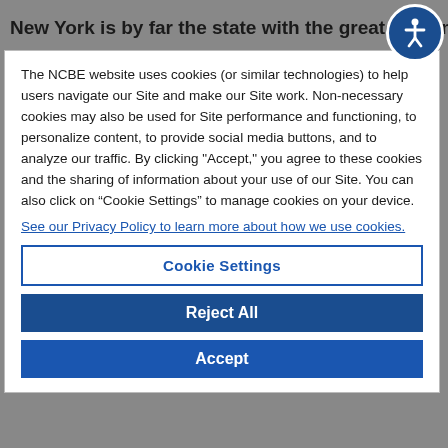New York is by far the state with the greatest numbe
The NCBE website uses cookies (or similar technologies) to help users navigate our Site and make our Site work. Non-necessary cookies may also be used for Site performance and functioning, to personalize content, to provide social media buttons, and to analyze our traffic. By clicking "Accept," you agree to these cookies and the sharing of information about your use of our Site. You can also click on “Cookie Settings” to manage cookies on your device.
See our Privacy Policy to learn more about how we use cookies.
Cookie Settings
Reject All
Accept